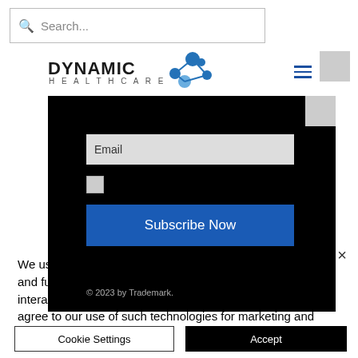[Figure (screenshot): Search bar with magnifying glass icon and placeholder text 'Search...']
[Figure (logo): Dynamic Healthcare logo with molecule icon]
[Figure (screenshot): Website subscription form screenshot showing Email field, privacy policy checkbox, Subscribe Now button, and footer copyright text '© 2023 by Trademark.']
We use cookies and similar technologies to enable services and functionality on our site and to understand your interaction with our service. By clicking on accept, you agree to our use of such technologies for marketing and analytics.
Cookie Settings
Accept